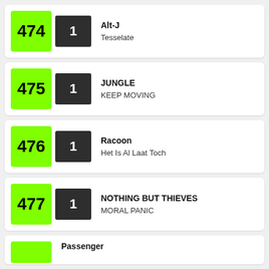474 | 1 | Alt-J | Tesselate
475 | 1 | JUNGLE | KEEP MOVING
476 | 1 | Racoon | Het Is Al Laat Toch
477 | 1 | NOTHING BUT THIEVES | MORAL PANIC
478 | Passenger